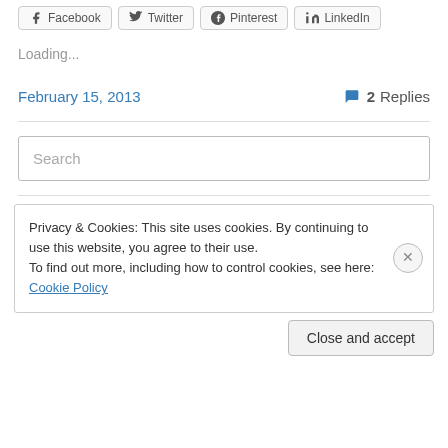[Figure (other): Social sharing buttons: Facebook, Twitter, Pinterest, LinkedIn]
Loading...
February 15, 2013   💬 2 Replies
Search
Privacy & Cookies: This site uses cookies. By continuing to use this website, you agree to their use.
To find out more, including how to control cookies, see here: Cookie Policy
Close and accept